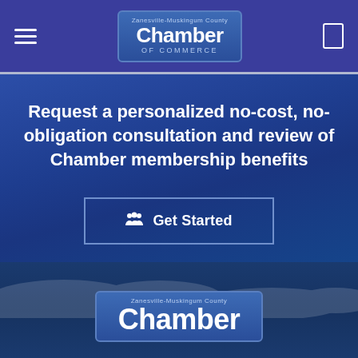Zanesville-Muskingum County Chamber of Commerce navigation bar
Request a personalized no-cost, no-obligation consultation and review of Chamber membership benefits
Get Started
[Figure (logo): Zanesville-Muskingum County Chamber of Commerce logo at bottom of page]